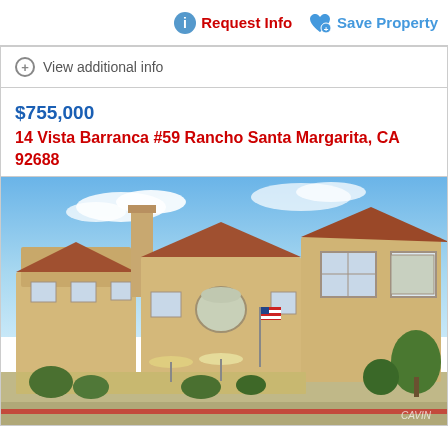Request Info  Save Property
View additional info
$755,000
14 Vista Barranca #59 Rancho Santa Margarita, CA 92688
[Figure (photo): Exterior photo of a two-story Mediterranean-style townhome complex with beige stucco walls, terracotta tile roofs, a tall chimney, arched window, American flag, patio umbrellas, wooden fence, and landscaping under a blue sky with clouds.]